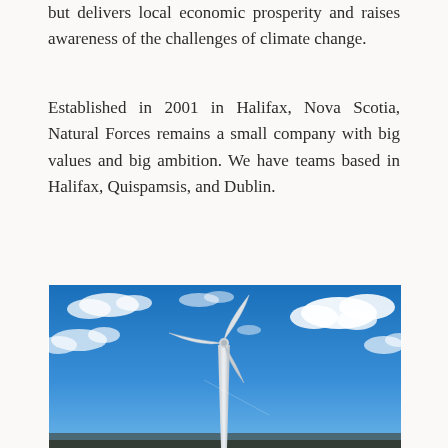but delivers local economic prosperity and raises awareness of the challenges of climate change.
Established in 2001 in Halifax, Nova Scotia, Natural Forces remains a small company with big values and big ambition. We have teams based in Halifax, Quispamsis, and Dublin.
[Figure (photo): A wind turbine against a vivid blue sky with white clouds scattered around it.]